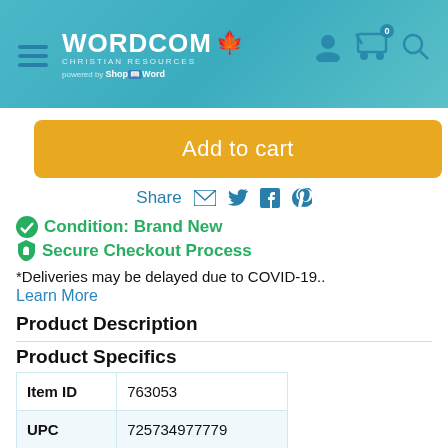[Figure (screenshot): Wordcom Christian Resources website header with logo, maple leaf, hamburger menu, and icons for account, cart, and search on a teal gradient background]
Add to cart
Share
✅ Condition: Brand New
🔒 Secure Checkout Process
*Deliveries may be delayed due to COVID-19..
Learn More
Product Description
Product Specifics
|  |  |
| --- | --- |
| Item ID | 763053 |
| UPC | 725734977779 |